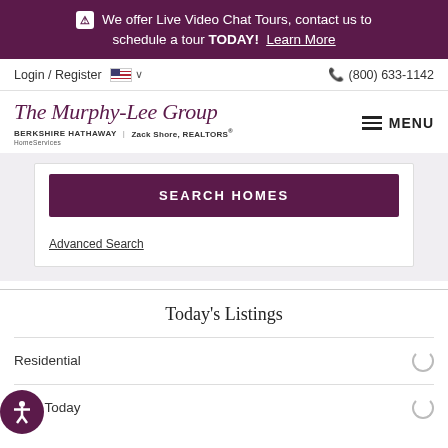⚠ We offer Live Video Chat Tours, contact us to schedule a tour TODAY! Learn More
Login / Register  🇺🇸 ∨  (800) 633-1142
The Murphy-Lee Group BERKSHIRE HATHAWAY | Zack Shore, REALTORS® HomeServices  MENU
SEARCH HOMES
Advanced Search
Today's Listings
Residential
New Today